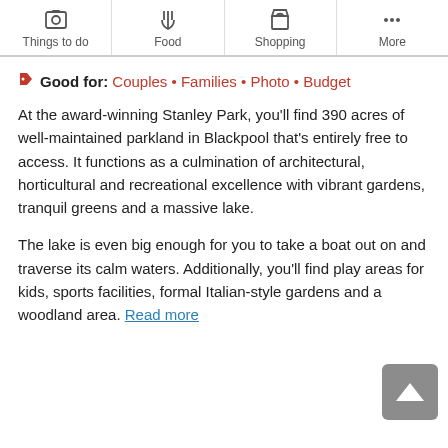Things to do | Food | Shopping | More
Good for: Couples • Families • Photo • Budget
At the award-winning Stanley Park, you'll find 390 acres of well-maintained parkland in Blackpool that's entirely free to access. It functions as a culmination of architectural, horticultural and recreational excellence with vibrant gardens, tranquil greens and a massive lake.
The lake is even big enough for you to take a boat out on and traverse its calm waters. Additionally, you'll find play areas for kids, sports facilities, formal Italian-style gardens and a woodland area. Read more